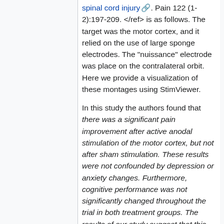spinal cord injury. Pain 122 (1-2):197-209. </ref> is as follows. The target was the motor cortex, and it relied on the use of large sponge electrodes. The "nuissance" electrode was place on the contralateral orbit. Here we provide a visualization of these montages using StimViewer.
In this study the authors found that there was a significant pain improvement after active anodal stimulation of the motor cortex, but not after sham stimulation. These results were not confounded by depression or anxiety changes. Furthermore, cognitive performance was not significantly changed throughout the trial in both treatment groups. The results of our study suggest that this new approach of cortical stimulation can be effective to control pain in patients with